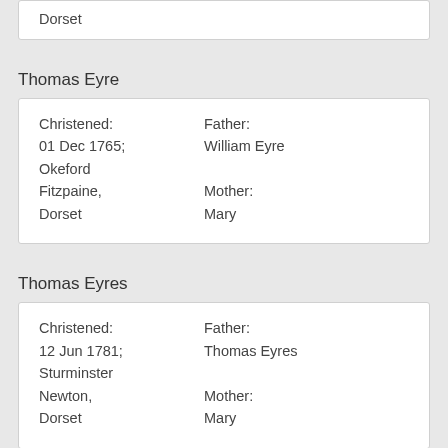Dorset
Thomas Eyre
| Christened: | Father: |
| 01 Dec 1765; Okeford Fitzpaine, Dorset | William Eyre |
|  | Mother: |
|  | Mary |
Thomas Eyres
| Christened: | Father: |
| 12 Jun 1781; Sturminster Newton, Dorset | Thomas Eyres |
|  | Mother: |
|  | Mary |